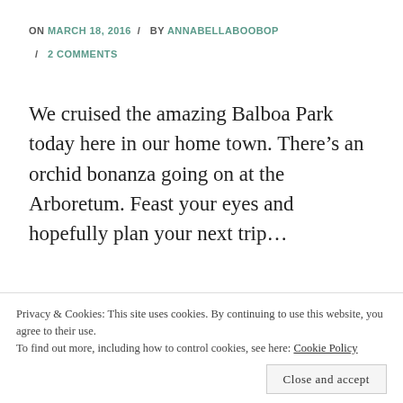ON MARCH 18, 2016 / BY ANNABELLABOOBOP / 2 COMMENTS
We cruised the amazing Balboa Park today here in our home town. There’s an orchid bonanza going on at the Arboretum. Feast your eyes and hopefully plan your next trip…
[Figure (photo): Close-up photo of pink and yellow orchid flowers against a dark background, shown in two strips (top and bottom of a bordered image box).]
Privacy & Cookies: This site uses cookies. By continuing to use this website, you agree to their use.
To find out more, including how to control cookies, see here: Cookie Policy
Close and accept